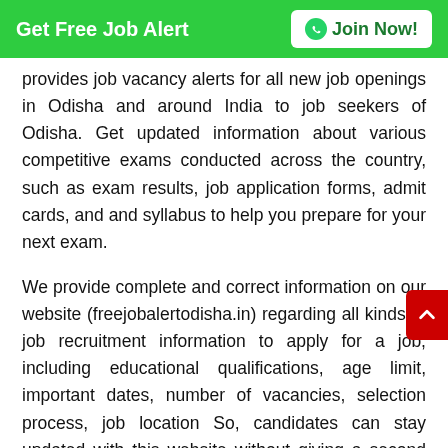Get Free Job Alert | Join Now!
provides job vacancy alerts for all new job openings in Odisha and around India to job seekers of Odisha. Get updated information about various competitive exams conducted across the country, such as exam results, job application forms, admit cards, and and syllabus to help you prepare for your next exam.
We provide complete and correct information on our website (freejobalertodisha.in) regarding all kinds of job recruitment information to apply for a job, including educational qualifications, age limit, important dates, number of vacancies, selection process, job location So, candidates can stay updated with this website without giving a second thought to the regular and latest news for all India jobs.
We update this page daily with the list of all government and private jobs in India. So, stay updated with us and get free Odisha nijukti khabar.